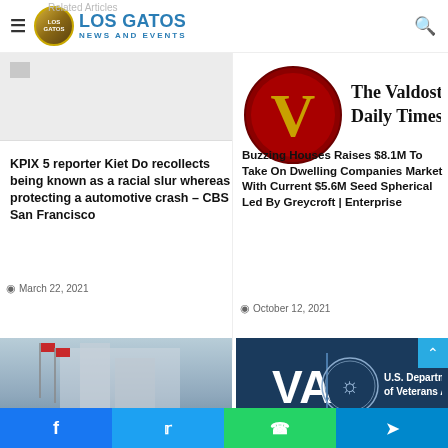Los Gatos News and Events
Related Articles
[Figure (logo): Broken image placeholder on left side]
[Figure (logo): The Valdosta Daily Times logo with large red V circle and serif text]
KPIX 5 reporter Kiet Do recollects being known as a racial slur whereas protecting a automotive crash – CBS San Francisco
March 22, 2021
Buzzing Houses Raises $8.1M To Take On Dwelling Companies Market With Current $5.6M Seed Spherical Led By Greycroft | Enterprise
October 12, 2021
[Figure (photo): Building with flags - appears to be a government or city building with Chinese/Taiwanese flags]
[Figure (logo): U.S. Department of Veterans Affairs (VA) logo on dark blue background]